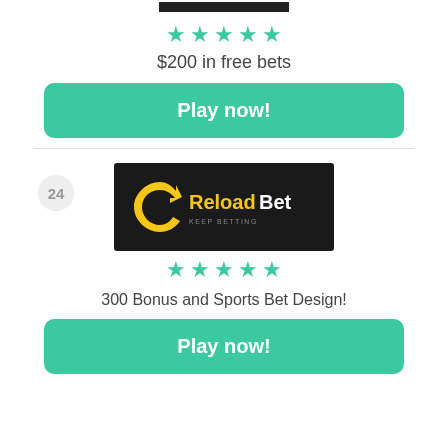[Figure (logo): Dark logo bar at top (partially visible)]
[Figure (illustration): Five teal star rating icons]
$200 in free bets
Play now!
24
[Figure (logo): ReloadBet logo on dark background — KEEP BETTING tagline]
[Figure (illustration): Five teal star rating icons]
300 Bonus and Sports Bet Design!
Play now!